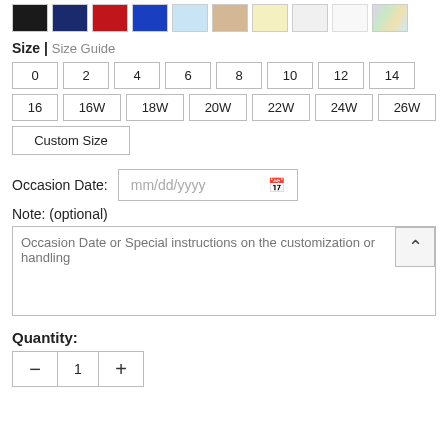[Figure (other): Row of 10 color swatches: black, navy, red, royal blue, light blue, tan/beige, light yellow, white, white, iridescent/holographic]
Size | Size Guide
0
2
4
6
8
10
12
14
16
16W
18W
20W
22W
24W
26W
Custom Size
Occasion Date: mm/dd/yyyy
Note: (optional)
Occasion Date or Special instructions on the customization or handling
Quantity:
1